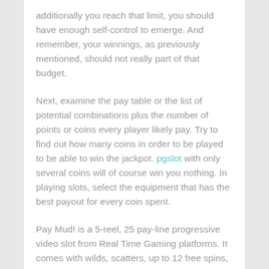additionally you reach that limit, you should have enough self-control to emerge. And remember, your winnings, as previously mentioned, should not really part of that budget.
Next, examine the pay table or the list of potential combinations plus the number of points or coins every player likely pay. Try to find out how many coins in order to be played to be able to win the jackpot. pgslot with only several coins will of course win you nothing. In playing slots, select the equipment that has the best payout for every coin spent.
Pay Mud! is a 5-reel, 25 pay-line progressive video slot from Real Time Gaming platforms. It comes with wilds, scatters, up to 12 free spins, and 25 winning combinations. Symbols on the reels include...